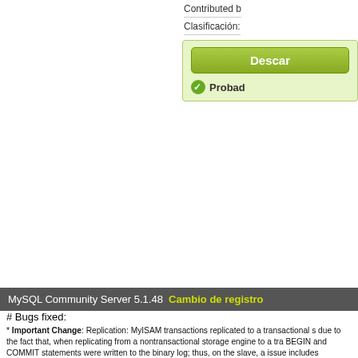Contributed b
Clasificación:
[Figure (other): Download button area with green Descar button and Probado checkmark badge]
MySQL Community Server 5.1.48  Cambio de registro
# Bugs fixed:
* Important Change: Replication: MyISAM transactions replicated to a transactional s due to the fact that, when replicating from a nontransactional storage engine to a tra BEGIN and COMMIT statements were written to the binary log; thus, on the slave, a issue includes enforcing autocommit mode on the slave by replicating all autocommi * Partitioning: ALTER TABLE statements that cause table partitions to be renamed or PARTITION, ALTER TABLE ... DROP PARTITION, and ALTER TABLE ... REORGAN queries against the INFORMATION_SCHEMA.PARTITIONS table — could fail, caus or both. This was due to the fact that the INFORMATION_SCHEMA database ignore statement on the partitions affected. In particular, this led to problems with InnoDB ta operation, but put it in a background queue, so that subsequent rename operations fa partition. Now, INFORMATION_SCHEMA honors name locks imposed by ongoing AL renamed or dropped. (Bug#50561) See also Bug#47343, Bug#45808. * Partitioning: It was possible to execute a CREATE TEMPORARY TABLE tmp LIKE though partitioned temporary tables are not permitted, which caused the server to cra statements from being executed. (Bug#49477) * Partitioning: When attempting to perform DDL on a partitioned table and the table's inaccurate error message Out of memory; restart server and try again (needed 2 byte Failed to initialize partitions from .par file. (Bug#49161) * Replication: In some cases, attempting to update a column with a value of an incom and slave because the column value was set to its implicit default value on the maste was set to NULL. (Bug#52868) * Replication: When using a non-transactional table on the master with autocommit d following a statement affecting this table. If the slave's copy of the table used a transa as though a transaction had been started, but never completed. (Bug#49522) See a